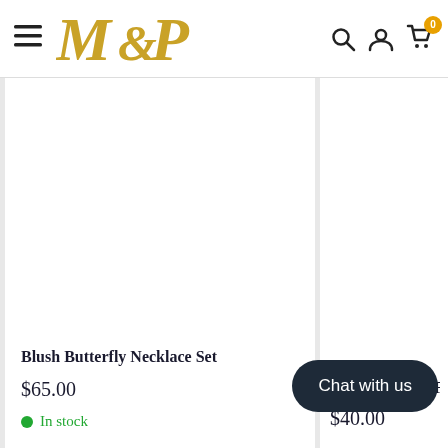[Figure (logo): M&P logo in gold serif font with ampersand]
[Figure (screenshot): Product card for Blush Butterfly Necklace Set showing white product image area]
Blush Butterfly Necklace Set
$65.00
In stock
[Figure (screenshot): Partial product card for Gold Butterfly Frame showing white product image area]
Gold Butterfly Frame
$40.00
Chat with us